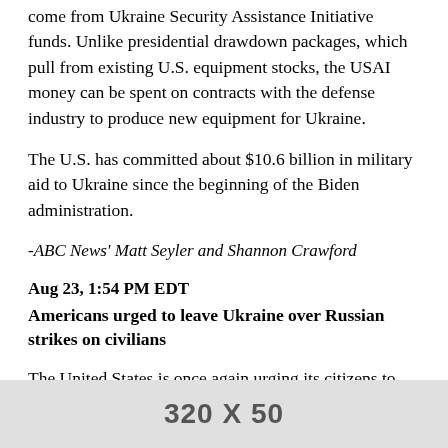come from Ukraine Security Assistance Initiative funds. Unlike presidential drawdown packages, which pull from existing U.S. equipment stocks, the USAI money can be spent on contracts with the defense industry to produce new equipment for Ukraine.
The U.S. has committed about $10.6 billion in military aid to Ukraine since the beginning of the Biden administration.
-ABC News' Matt Seyler and Shannon Crawford
Aug 23, 1:54 PM EDT
Americans urged to leave Ukraine over Russian strikes on civilians
The United States is once again urging its citizens to leave Ukraine amid concerns Russia is ramping up attacks on civilians in the war-torn country.
In a security alert posted Tuesday on its website, the U.S. Em... Ukrai...
[Figure (other): Advertisement banner showing '320 X 50']